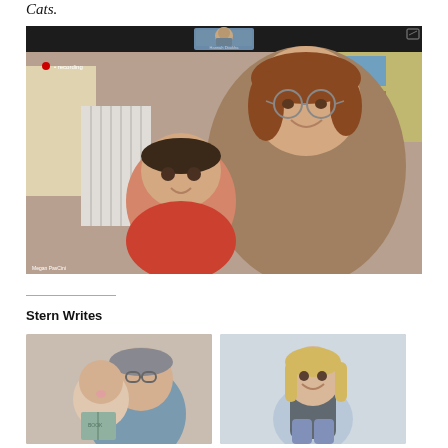Cats.
[Figure (screenshot): Video call screenshot showing a woman with glasses and red hair smiling with a toddler in a red shirt in the foreground. A small thumbnail of another participant is visible at the top center of the screen.]
Stern Writes
[Figure (photo): Image of two Pixar-style animated characters - an adult holding a baby with a book]
[Figure (photo): Photo of a blonde woman in athletic wear sitting casually]